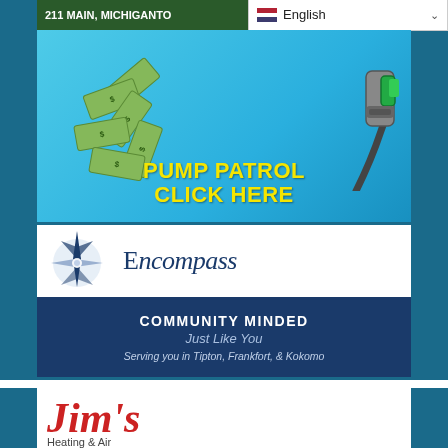211 MAIN, MICHIGANTO
English
[Figure (infographic): Pump Patrol advertisement banner with gas nozzle, flying money bills, and text 'PUMP PATROL CLICK HERE' on blue background]
[Figure (infographic): Encompass bank advertisement with compass logo, dark blue background, text 'COMMUNITY MINDED Just Like You' and 'Serving you in Tipton, Frankfort, & Kokomo']
[Figure (illustration): Jim's Heating & Air advertisement with red stylized text logo]